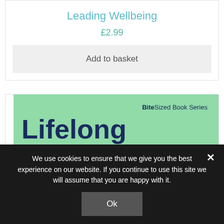Leading Wellbeing
£2.99
Add to basket
[Figure (photo): Book cover with green background showing 'Lifelong Learning' — part of the BiteSized Book Series]
We use cookies to ensure that we give you the best experience on our website. If you continue to use this site we will assume that you are happy with it.
Ok